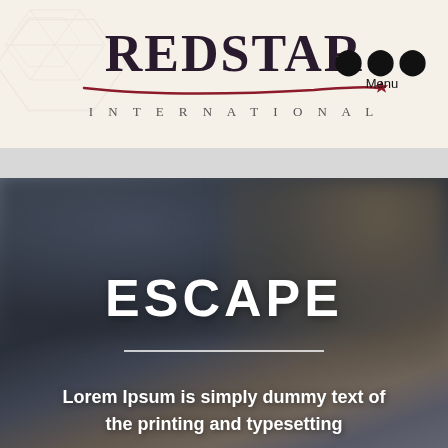[Figure (logo): Red Star International logo with stylized underline swoosh and red star, plus three-dot menu button and 'Menu' label in header]
[Figure (photo): Blurred background photo of people, dark and muted tones, used as hero background image]
ESCAPE
Lorem Ipsum is simply dummy text of the printing and typesetting